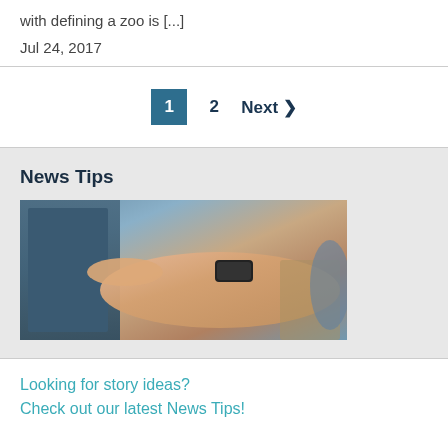with defining a zoo is [...]
Jul 24, 2017
1  2  Next >
News Tips
[Figure (photo): A person's hand with a black wristband/smartwatch touching or pointing at a screen or device.]
Looking for story ideas?
Check out our latest News Tips!